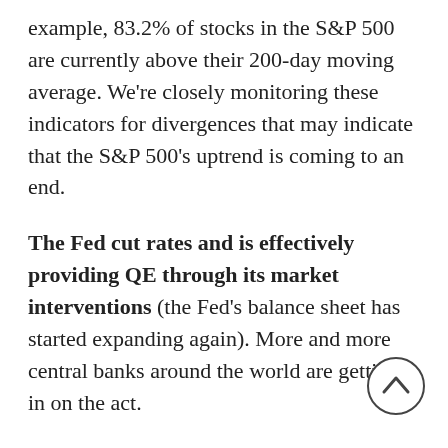example, 83.2% of stocks in the S&P 500 are currently above their 200-day moving average. We're closely monitoring these indicators for divergences that may indicate that the S&P 500's uptrend is coming to an end.
The Fed cut rates and is effectively providing QE through its market interventions (the Fed's balance sheet has started expanding again). More and more central banks around the world are getting in on the act.
The biggest change in December has been the strength of the Australian Dollar (AUD). The AUD has been firming since August (i.e. series of higher lows) and it finally broke out of a two-year